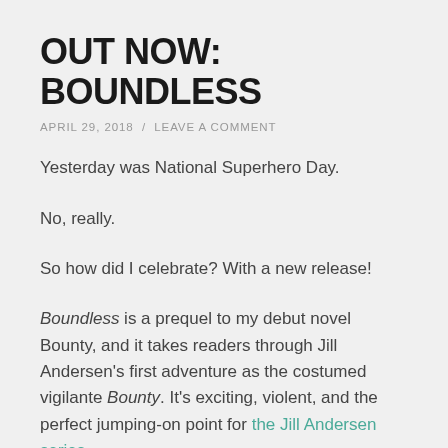OUT NOW: BOUNDLESS
APRIL 29, 2018  /  LEAVE A COMMENT
Yesterday was National Superhero Day.
No, really.
So how did I celebrate? With a new release!
Boundless is a prequel to my debut novel Bounty, and it takes readers through Jill Andersen's first adventure as the costumed vigilante Bounty. It's exciting, violent, and the perfect jumping-on point for the Jill Andersen series.
Best of all? It's just 99 cents.